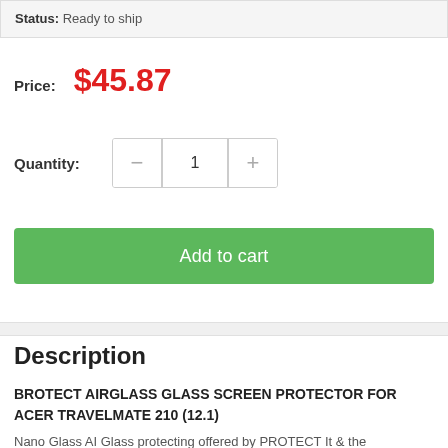Status: Ready to ship
Price: $45.87
Quantity: 1
Add to cart
Description
BROTECT AIRGLASS GLASS SCREEN PROTECTOR FOR ACER TRAVELMATE 210 (12.1)
Nano Glass AI Glass protecting offered by PROTECT It & the